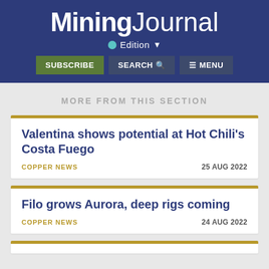Mining Journal
Edition
SUBSCRIBE | SEARCH | MENU
MORE FROM THIS SECTION
Valentina shows potential at Hot Chili's Costa Fuego
COPPER NEWS   25 AUG 2022
Filo grows Aurora, deep rigs coming
COPPER NEWS   24 AUG 2022